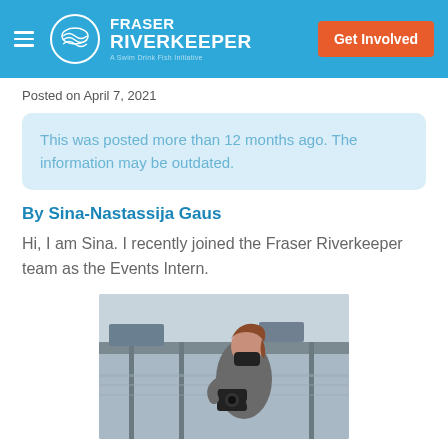Fraser Riverkeeper — Get Involved
Posted on April 7, 2021
This was posted more than 12 months ago. The information may be outdated.
By Sina-Nastassija Gaus
Hi, I am Sina. I recently joined the Fraser Riverkeeper team as the Events Intern.
[Figure (photo): Person wearing a black mask and grey jacket, looking down at a camera near a waterfront dock area.]